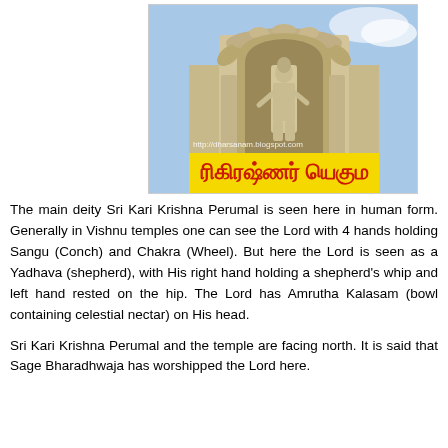[Figure (photo): Photo of Sri Kari Krishna Perumal temple showing a stone deity statue in human form standing inside an ornate arched niche atop the temple tower. Below the statue is a yellow banner with red Tamil script text. A watermark reads http://dharsanam.blogspot.com]
The main deity Sri Kari Krishna Perumal is seen here in human form. Generally in Vishnu temples one can see the Lord with 4 hands holding Sangu (Conch) and Chakra (Wheel). But here the Lord is seen as a Yadhava (shepherd), with His right hand holding a shepherd's whip and left hand rested on the hip. The Lord has Amrutha Kalasam (bowl containing celestial nectar) on His head.
Sri Kari Krishna Perumal and the temple are facing north. It is said that Sage Bharadhwaja has worshipped the Lord here.